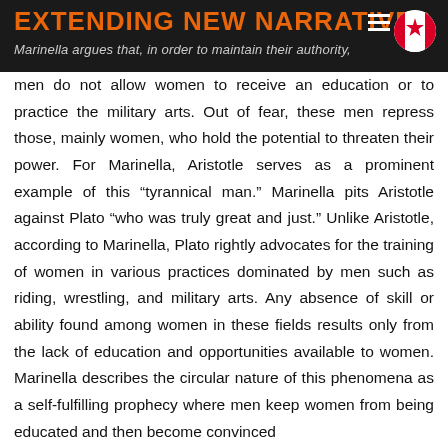EXTENDING NEW NARRATIVES
Marinella argues that, in order to maintain their authority, men do not allow women to receive an education or to practice the military arts. Out of fear, these men repress those, mainly women, who hold the potential to threaten their power. For Marinella, Aristotle serves as a prominent example of this “tyrannical man.” Marinella pits Aristotle against Plato “who was truly great and just.” Unlike Aristotle, according to Marinella, Plato rightly advocates for the training of women in various practices dominated by men such as riding, wrestling, and military arts. Any absence of skill or ability found among women in these fields results only from the lack of education and opportunities available to women. Marinella describes the circular nature of this phenomena as a self-fulfilling prophecy where men keep women from being educated and then become convinced